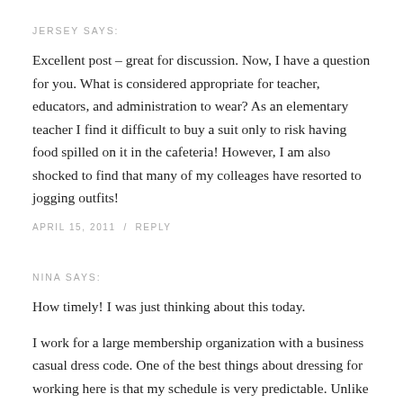JERSEY SAYS:
Excellent post – great for discussion. Now, I have a question for you. What is considered appropriate for teacher, educators, and administration to wear? As an elementary teacher I find it difficult to buy a suit only to risk having food spilled on it in the cafeteria! However, I am also shocked to find that many of my colleages have resorted to jogging outfits!
APRIL 15, 2011  /  REPLY
NINA SAYS:
How timely! I was just thinking about this today.
I work for a large membership organization with a business casual dress code. One of the best things about dressing for working here is that my schedule is very predictable. Unlike